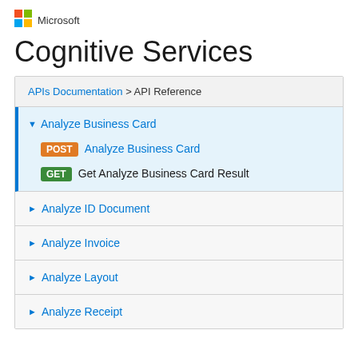Microsoft
Cognitive Services
APIs Documentation > API Reference
▼ Analyze Business Card
POST Analyze Business Card
GET Get Analyze Business Card Result
► Analyze ID Document
► Analyze Invoice
► Analyze Layout
► Analyze Receipt